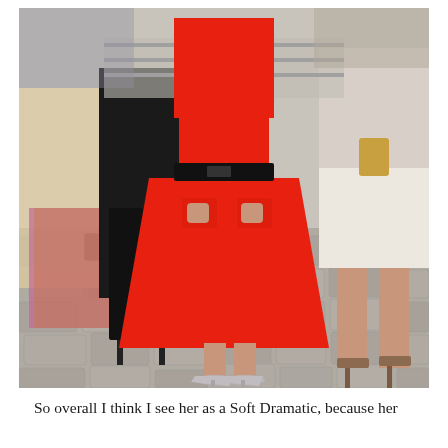[Figure (photo): A woman wearing a bright red knee-length dress with a black belt, with hands in pockets, wearing light grey pointed-toe heels, standing on cobblestone pavement outdoors with other people visible in the background.]
So overall I think I see her as a Soft Dramatic, because her